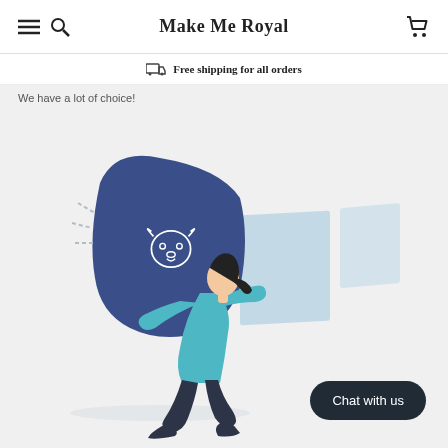Make Me Royal
Free shipping for all orders
We have a lot of choice!
[Figure (illustration): Illustration of a woman carrying a large dark blue canvas with a dog portrait drawing on it, with light blue rectangular panels in the background. The scene is set on a light gray background.]
Chat with us